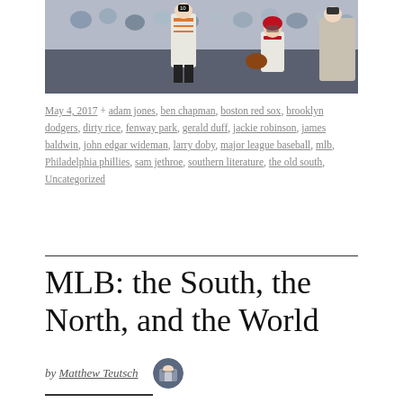[Figure (photo): Baseball game action photo showing players at a base, with a crowded stadium in the background. One player in an orange-and-white uniform and another in a red-and-white uniform are visible.]
May 4, 2017 + adam jones, ben chapman, boston red sox, brooklyn dodgers, dirty rice, fenway park, gerald duff, jackie robinson, james baldwin, john edgar wideman, larry doby, major league baseball, mlb, Philadelphia phillies, sam jethroe, southern literature, the old south, Uncategorized
MLB: the South, the North, and the World
by Matthew Teutsch